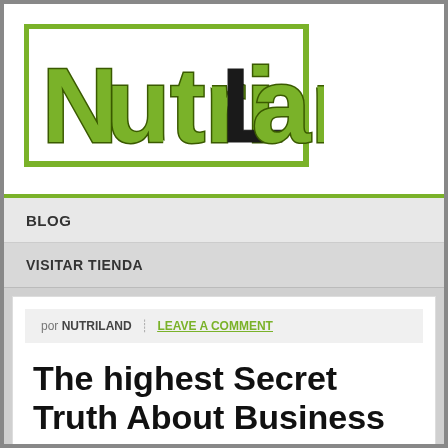[Figure (logo): NutriLand logo in green with bold stylized text]
BLOG
VISITAR TIENDA
por NUTRILAND | LEAVE A COMMENT
The highest Secret Truth About Business Revealed